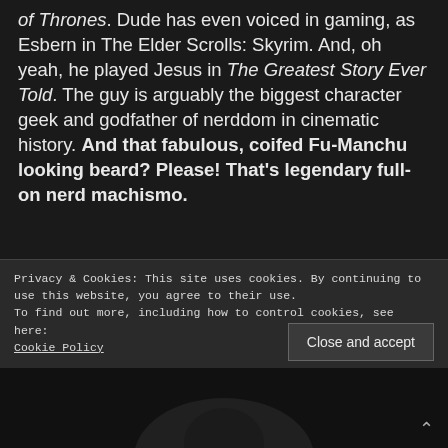of Thrones. Dude has even voiced in gaming, as Esbern in The Elder Scrolls: Skyrim. And, oh yeah, he played Jesus in The Greatest Story Ever Told. The guy is arguably the biggest character geek and godfather of nerddom in cinematic history. And that fabulous, coifed Fu-Manchu looking beard? Please! That's legendary full-on nerd machismo.
Privacy & Cookies: This site uses cookies. By continuing to use this website, you agree to their use.
To find out more, including how to control cookies, see here:
Cookie Policy
Close and accept
[Figure (photo): Partial view of a person at the bottom of the page, dark/shadowed image]